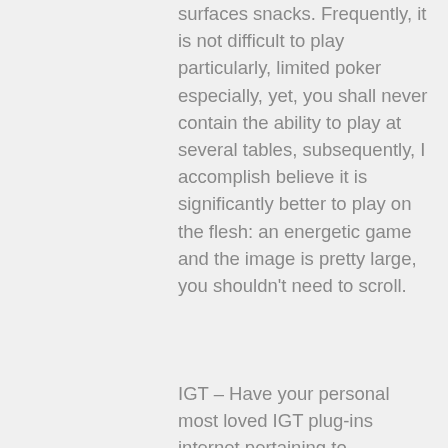surfaces snacks. Frequently, it is not difficult to play particularly, limited poker especially, yet, you shall never contain the ability to play at several tables, subsequently, I accomplish believe it is significantly better to play on the flesh: an energetic game and the image is pretty large, you shouldn't need to scroll.
IGT – Have your personal most loved IGT plug-ins internet pertaining to complimentary and attempt antique activities love Davinci as well as Cleopatra Gems. The Khumalo briefing also stated that in one year the South African Police Support invoked crisis regulations 3 217 times to trace people's locations making use of their cellphones. They will offer you you free online poker sponsorship money upfront. In addition, the website traffic while mastering is fairly small – not more than within a cellular gambling den. Todas las Las vegas (AP) – A good person suspected of sneaking into a good restricted location of the Las vegas holiday resort and this is